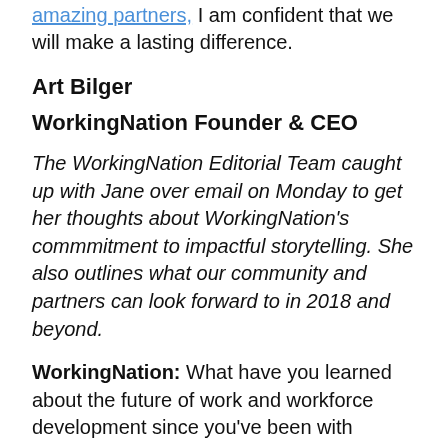amazing partners, I am confident that we will make a lasting difference.
Art Bilger
WorkingNation Founder & CEO
The WorkingNation Editorial Team caught up with Jane over email on Monday to get her thoughts about WorkingNation's commmitment to impactful storytelling. She also outlines what our community and partners can look forward to in 2018 and beyond.
WorkingNation: What have you learned about the future of work and workforce development since you've been with